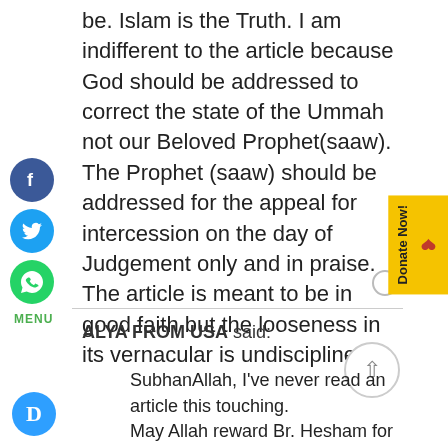be. Islam is the Truth. I am indifferent to the article because God should be addressed to correct the state of the Ummah not our Beloved Prophet(saaw). The Prophet (saaw) should be addressed for the appeal for intercession on the day of Judgement only and in praise. The article is meant to be in good faith but the looseness in its vernacular is undisciplined
ALYA FROM USA said:
SubhanAllah, I've never read an article this touching.
May Allah reward Br. Hesham for writing thi...